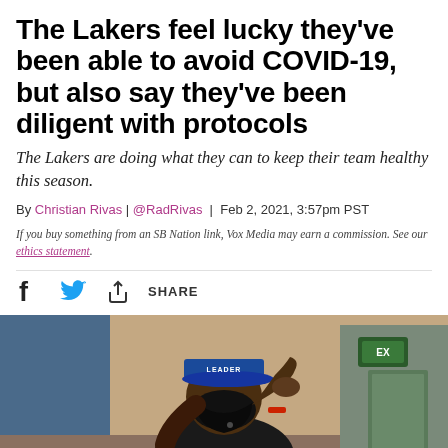The Lakers feel lucky they've been able to avoid COVID-19, but also say they've been diligent with protocols
The Lakers are doing what they can to keep their team healthy this season.
By Christian Rivas | @RadRivas | Feb 2, 2021, 3:57pm PST
If you buy something from an SB Nation link, Vox Media may earn a commission. See our ethics statement.
[Figure (photo): A basketball player wearing a blue cap labeled 'LEADER' and a black face mask, adjusting mask with hand, indoor setting]